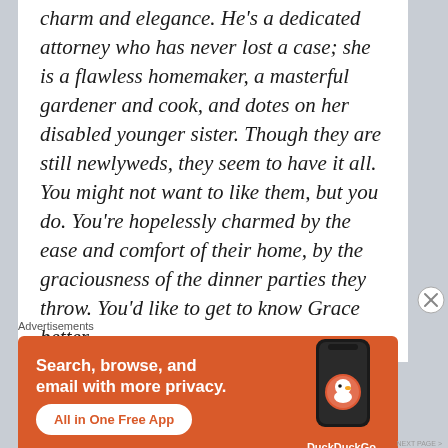charm and elegance. He's a dedicated attorney who has never lost a case; she is a flawless homemaker, a masterful gardener and cook, and dotes on her disabled younger sister. Though they are still newlyweds, they seem to have it all. You might not want to like them, but you do. You're hopelessly charmed by the ease and comfort of their home, by the graciousness of the dinner parties they throw. You'd like to get to know Grace better.
[Figure (other): DuckDuckGo advertisement banner with orange background. Text reads: 'Search, browse, and email with more privacy. All in One Free App'. Shows a phone with DuckDuckGo logo and brand name.]